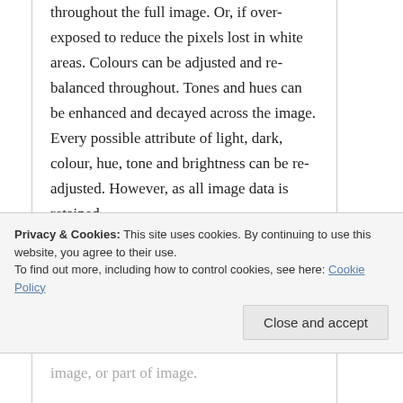throughout the full image. Or, if over-exposed to reduce the pixels lost in white areas. Colours can be adjusted and re-balanced throughout. Tones and hues can be enhanced and decayed across the image. Every possible attribute of light, dark, colour, hue, tone and brightness can be re-adjusted. However, as all image data is retained,
Privacy & Cookies: This site uses cookies. By continuing to use this website, you agree to their use.
To find out more, including how to control cookies, see here: Cookie Policy
Close and accept
image, or part of image.